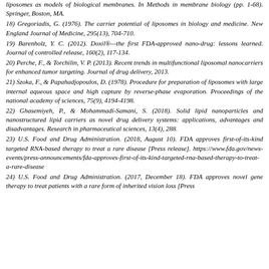liposomes as models of biological membranes. In Methods in membrane biology (pp. 1-68). Springer, Boston, MA.
18) Gregoriadis, G. (1976). The carrier potential of liposomes in biology and medicine. New England Journal of Medicine, 295(13), 704-710.
19) Barenholz, Y. C. (2012). Doxil®—the first FDA-approved nano-drug: lessons learned. Journal of controlled release, 160(2), 117-134.
20) Perche, F., & Torchilin, V. P. (2013). Recent trends in multifunctional liposomal nanocarriers for enhanced tumor targeting. Journal of drug delivery, 2013.
21) Szoka, F., & Papahadjopoulos, D. (1978). Procedure for preparation of liposomes with large internal aqueous space and high capture by reverse-phase evaporation. Proceedings of the national academy of sciences, 75(9), 4194-4198.
22) Ghasemiyeh, P., & Mohammadi-Samani, S. (2018). Solid lipid nanoparticles and nanostructured lipid carriers as novel drug delivery systems: applications, advantages and disadvantages. Research in pharmaceutical sciences, 13(4), 288.
23) U.S. Food and Drug Administration. (2018, August 10). FDA approves first-of-its-kind targeted RNA-based therapy to treat a rare disease [Press release]. https://www.fda.gov/news-events/press-announcements/fda-approves-first-of-its-kind-targeted-rna-based-therapy-to-treat-a-rare-disease
24) U.S. Food and Drug Administration. (2017, December 18). FDA approves novel gene therapy to treat patients with a rare form of inherited vision loss [Press